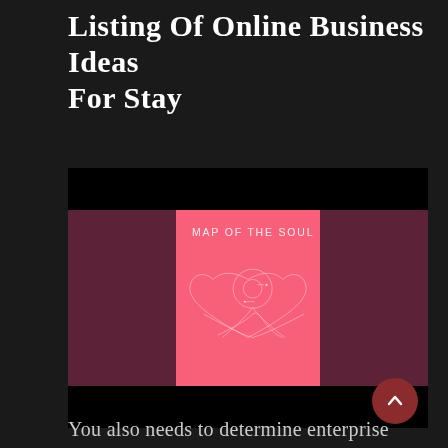Listing Of Online Business Ideas For Stay
[Figure (photo): BTS Map of the Soul: Persona album cover — pink square cover with white line-art forming a heart and face shape, with text 'MAP OF THE SOUL PERSONA' at top. Displayed against dark maroon/brown side panels and black top/bottom bars.]
You also needs to determine enterprise